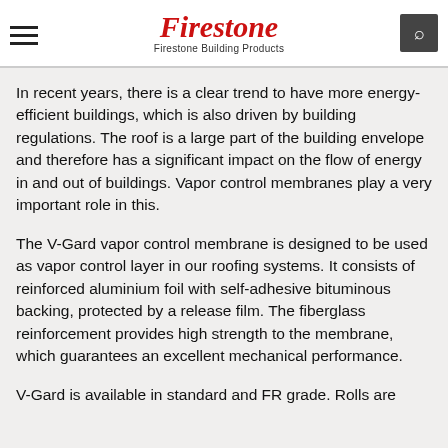Firestone — Firestone Building Products
In recent years, there is a clear trend to have more energy-efficient buildings, which is also driven by building regulations. The roof is a large part of the building envelope and therefore has a significant impact on the flow of energy in and out of buildings. Vapor control membranes play a very important role in this.
The V-Gard vapor control membrane is designed to be used as vapor control layer in our roofing systems. It consists of reinforced aluminium foil with self-adhesive bituminous backing, protected by a release film. The fiberglass reinforcement provides high strength to the membrane, which guarantees an excellent mechanical performance.
V-Gard is available in standard and FR grade. Rolls are